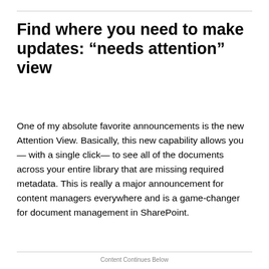Find where you need to make updates: “needs attention” view
One of my absolute favorite announcements is the new Attention View. Basically, this new capability allows you— with a single click— to see all of the documents across your entire library that are missing required metadata. This is really a major announcement for content managers everywhere and is a game-changer for document management in SharePoint.
Content Continues Below